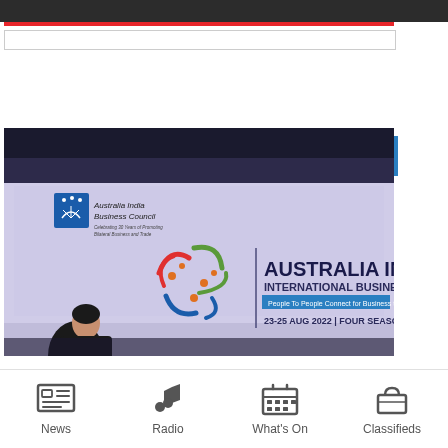RELATED ARTICLES
[Figure (photo): Conference stage showing Australia India Business Council branding and Australia India International Business event logo with text '23-25 AUG 2022 | FOUR SEASONS'. A person is visible at the bottom left. The stage has a large screen with the event details.]
News | Radio | What's On | Classifieds